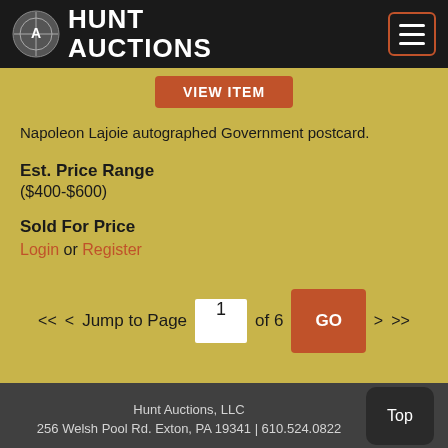Hunt Auctions
VIEW ITEM
Napoleon Lajoie autographed Government postcard.
Est. Price Range
($400-$600)
Sold For Price
Login or Register
<< < Jump to Page 1 of 6 GO > >>
Hunt Auctions, LLC
256 Welsh Pool Rd. Exton, PA 19341 | 610.524.0822